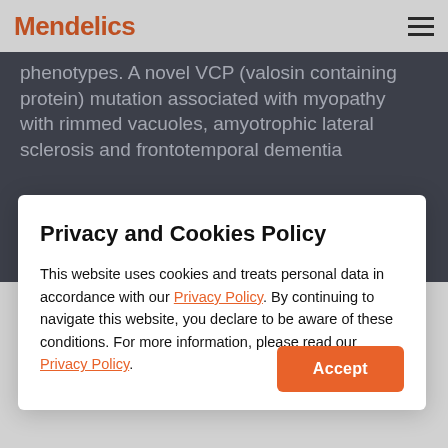Mendelics
phenotypes. A novel VCP (valosin containing protein) mutation associated with myopathy with rimmed vacuoles, amyotrophic lateral sclerosis and frontotemporal dementia
Privacy and Cookies Policy
This website uses cookies and treats personal data in accordance with our Privacy Policy. By continuing to navigate this website, you declare to be aware of these conditions. For more information, please read our Privacy Policy.